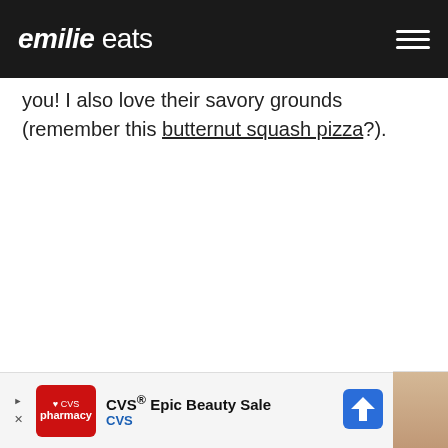emilie eats
you! I also love their savory grounds (remember this butternut squash pizza?).
[Figure (other): CVS Epic Beauty Sale advertisement banner with CVS pharmacy logo, text 'CVS® Epic Beauty Sale' and 'CVS', and a blue navigation arrow icon]